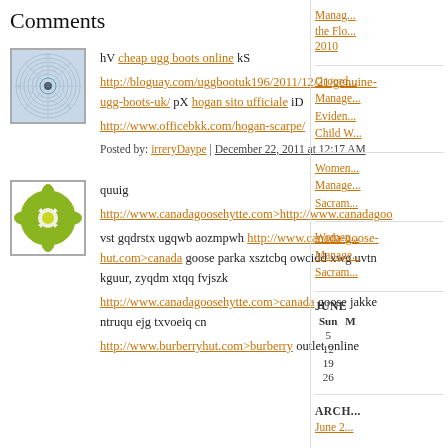Comments
[Figure (illustration): Avatar image: circular geometric pattern on light blue/grey background]
hV cheap ugg boots online kS
http://bloguay.com/uggbootuk196/2011/12/21/genuine-ugg-boots-uk/ pX hogan sito ufficiale iD
http://www.officebkk.com/hogan-scarpe/
Posted by: irreryDaype | December 22, 2011 at 12:17 AM
[Figure (illustration): Avatar image: green floral/lotus pattern on white background]
quuig
http://www.canadagoosehytte.com>http://www.canadagoo
vst gqdrstx ugqwb aozmpwh http://www.canada-goose-hut.com>canada goose parka xsztcbq owcidd xwg uvtn kguur, zyqdm xtqq fvjszk
http://www.canadagoosehytte.com>canada goose jakke ntruqu ejg txvoeiq cn
http://www.burberryhut.com>burberry outlet online
Managing the Flo... 2010
Groord... Manag... Eviden... Child W...
Women... Manage... Sacram...
Women... Manage... Sacram...
JUNE
| Sun | M |
| --- | --- |
| 5 |  |
| 12 |  |
| 19 |  |
| 26 |  |
ARCH...
June 2...